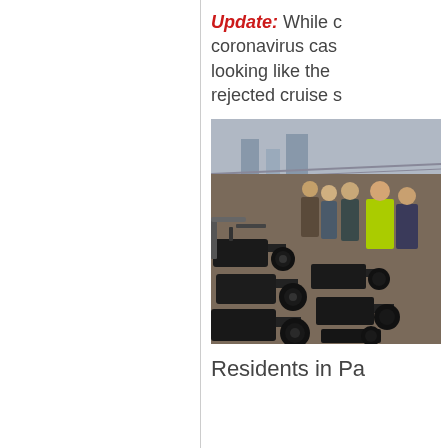Update: While coronavirus cas... looking like the rejected cruise s...
[Figure (photo): A crowd of journalists with large video cameras and TV news equipment gathered at an outdoor press event, with people in the background including someone in a yellow high-visibility vest. Tall buildings and a bridge visible in the background.]
Residents in Pa...